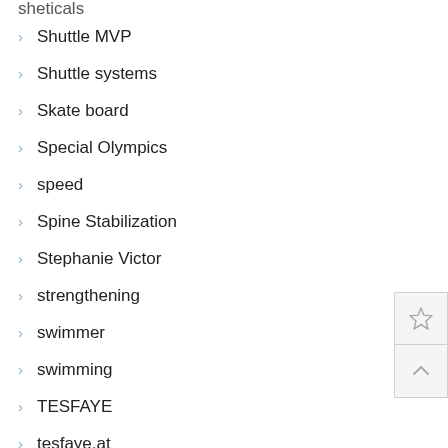Shuttle MVP
Shuttle systems
Skate board
Special Olympics
speed
Spine Stabilization
Stephanie Victor
strengthening
swimmer
swimming
TESFAYE
tesfaye.at
Tietschel...